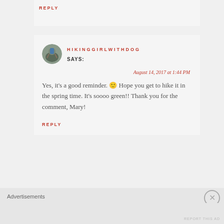REPLY
HIKINGGIRLWITHDOG
SAYS:
August 14, 2017 at 1:44 PM
Yes, it's a good reminder. 🙂 Hope you get to hike it in the spring time. It's soooo green!! Thank you for the comment, Mary!
REPLY
Advertisements
REPORT THIS AD